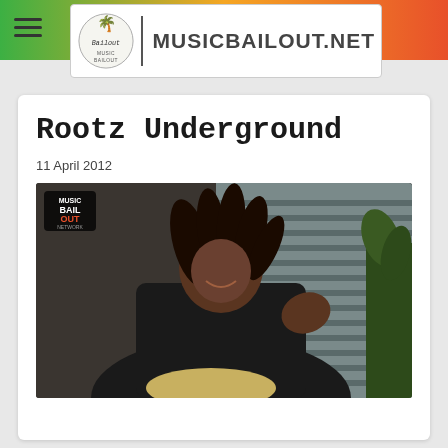MUSICBAILOUT.NET
Rootz Underground
11 April 2012
[Figure (photo): A man with dreadlocks wearing a black jacket, smiling, photographed indoors. A Music Bailout badge logo appears in the top-left corner of the photo.]